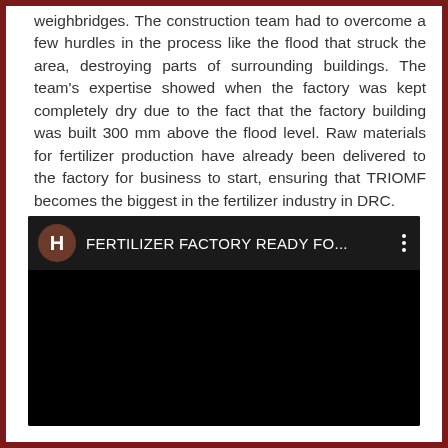weighbridges. The construction team had to overcome a few hurdles in the process like the flood that struck the area, destroying parts of surrounding buildings. The team's expertise showed when the factory was kept completely dry due to the fact that the factory building was built 300 mm above the flood level. Raw materials for fertilizer production have already been delivered to the factory for business to start, ensuring that TRIOMF becomes the biggest in the fertilizer industry in DRC.
[Figure (screenshot): Embedded video thumbnail with dark background showing 'FERTILIZER FACTORY READY FO...' title, a brown avatar with letter H, and a three-dot menu icon.]